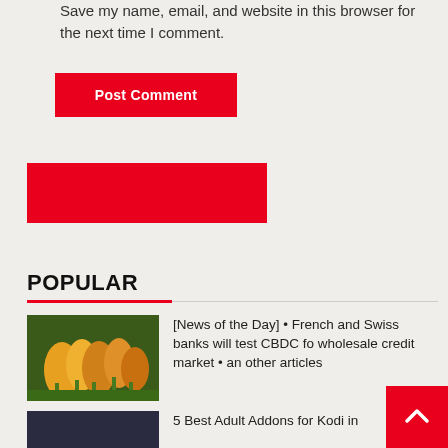Save my name, email, and website in this browser for the next time I comment.
Post Comment
[Figure (other): Red rectangular banner/image placeholder]
POPULAR
[News of the Day] • French and Swiss banks will test CBDC for wholesale credit market • and other articles
5 Best Adult Addons for Kodi in